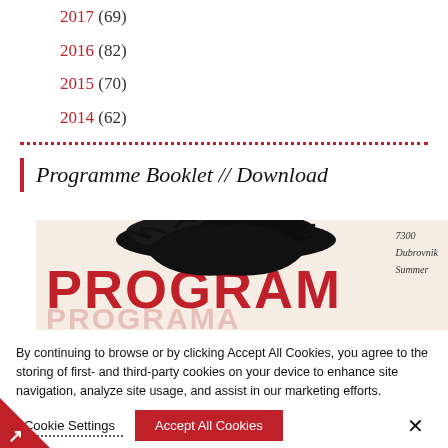2017 (69)
2016 (82)
2015 (70)
2014 (62)
Programme Booklet // Download
[Figure (photo): Programme booklet cover showing the word PROGRAM in large red letters with feather decoration and handwritten text '7300 Dubrovnik Summer']
By continuing to browse or by clicking Accept All Cookies, you agree to the storing of first- and third-party cookies on your device to enhance site navigation, analyze site usage, and assist in our marketing efforts.
Cookie Settings
Accept All Cookies